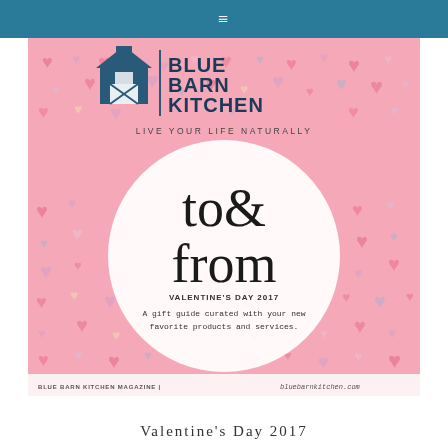≡
[Figure (illustration): Blue Barn Kitchen magazine cover for Valentine's Day 2017. Pink heart-pattern background with Blue Barn Kitchen logo (barn icon + text) at top, white circle in center with 'to& from' in large serif type, 'VALENTINE'S DAY 2017' label, and subtitle 'A gift guide curated with your new favorite products and services.' Footer bar reads 'BLUE BARN KITCHEN MAGAZINE | bluebarnkitchen.com']
Valentine's Day 2017